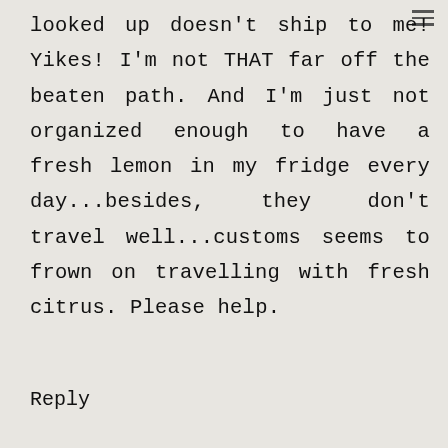looked up doesn't ship to me! Yikes! I'm not THAT far off the beaten path. And I'm just not organized enough to have a fresh lemon in my fridge every day...besides, they don't travel well...customs seems to frown on travelling with fresh citrus. Please help.
Reply